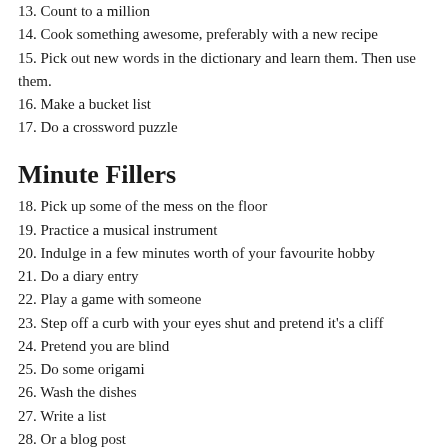13. Count to a million
14. Cook something awesome, preferably with a new recipe
15. Pick out new words in the dictionary and learn them. Then use them.
16. Make a bucket list
17. Do a crossword puzzle
Minute Fillers
18. Pick up some of the mess on the floor
19. Practice a musical instrument
20. Indulge in a few minutes worth of your favourite hobby
21. Do a diary entry
22. Play a game with someone
23. Step off a curb with your eyes shut and pretend it's a cliff
24. Pretend you are blind
25. Do some origami
26. Wash the dishes
27. Write a list
28. Or a blog post
29. Or both